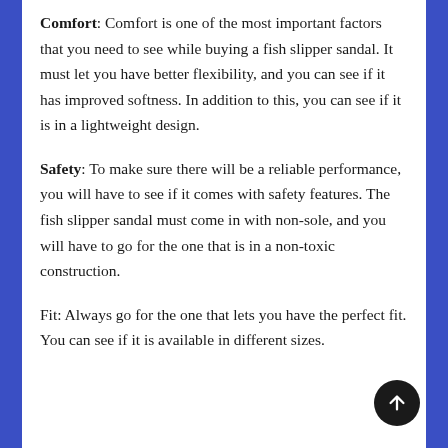Comfort: Comfort is one of the most important factors that you need to see while buying a fish slipper sandal. It must let you have better flexibility, and you can see if it has improved softness. In addition to this, you can see if it is in a lightweight design.
Safety: To make sure there will be a reliable performance, you will have to see if it comes with safety features. The fish slipper sandal must come in with non-sole, and you will have to go for the one that is in a non-toxic construction.
Fit: Always go for the one that lets you have the perfect fit. You can see if it is available in different sizes.